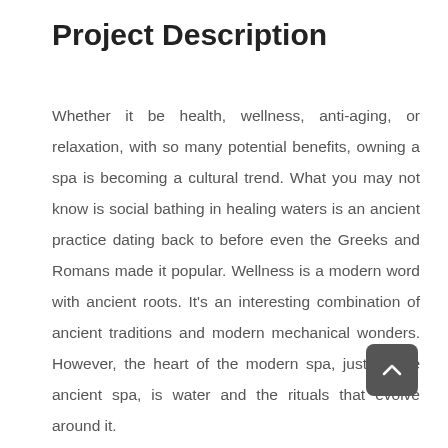Project Description
Whether it be health, wellness, anti-aging, or relaxation, with so many potential benefits, owning a spa is becoming a cultural trend. What you may not know is social bathing in healing waters is an ancient practice dating back to before even the Greeks and Romans made it popular. Wellness is a modern word with ancient roots. It’s an interesting combination of ancient traditions and modern mechanical wonders. However, the heart of the modern spa, just as the ancient spa, is water and the rituals that evolve around it.

Today’s spa is a center for healing and nourishing mind,